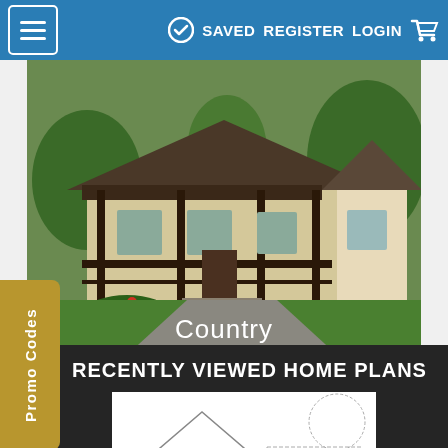SAVED  REGISTER  LOGIN
[Figure (photo): Country style ranch house with covered porch, dark wood trim, light stone/stucco exterior, surrounded by green lawn and flower beds. Label 'Country' overlaid at bottom center.]
Country
Promo Codes
RECENTLY VIEWED HOME PLANS
[Figure (illustration): Architectural blueprint/line drawing of a two-story house with front elevation and partial floor plan or site plan visible.]